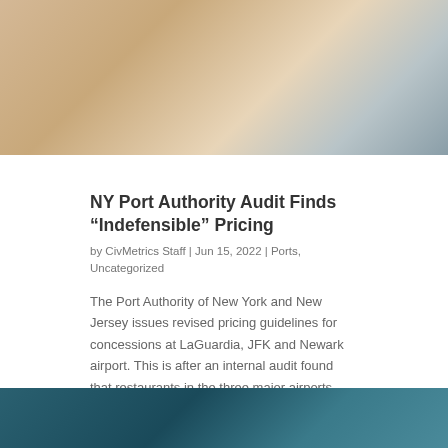[Figure (photo): Hands working on a document at a desk, with a bottle and pen visible]
NY Port Authority Audit Finds “Indefensible” Pricing
by CivMetrics Staff | Jun 15, 2022 | Ports, Uncategorized
The Port Authority of New York and New Jersey issues revised pricing guidelines for concessions at LaGuardia, JFK and Newark airport. This is after an internal audit found that restaurants in the three major airports were charging “indefensible” amounts,...
[Figure (photo): Dark teal/blue gradient background image, partially visible at bottom of page]